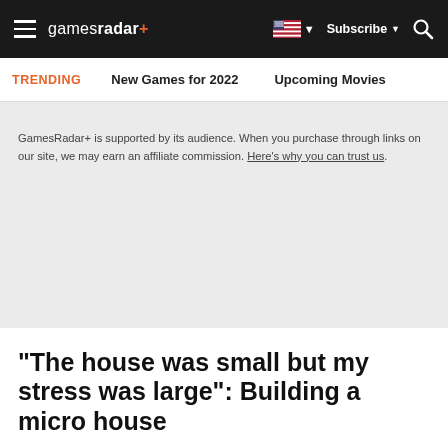gamesradar+ | Subscribe | Search
TRENDING  New Games for 2022  Upcoming Movies
GamesRadar+ is supported by its audience. When you purchase through links on our site, we may earn an affiliate commission. Here's why you can trust us.
"The house was small but my stress was large": Building a micro house